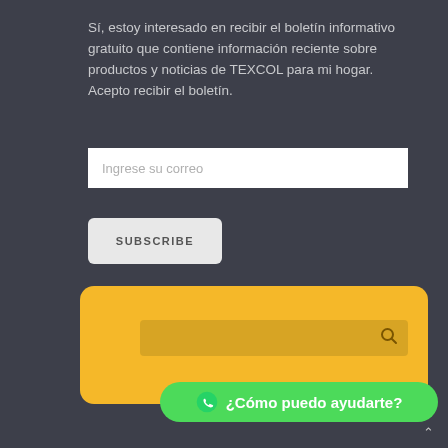Sí, estoy interesado en recibir el boletín informativo gratuito que contiene información reciente sobre productos y noticias de TEXCOL para mi hogar. Acepto recibir el boletín.
Ingrese su correo
SUBSCRIBE
Estoy de acuerdo en que mis datos enviados se están recopilando y almacenando. For further details on handling user data, see our Privacy Policy
[Figure (screenshot): Yellow rounded card with a search bar containing a magnifying glass icon, and a green WhatsApp button with text '¿Cómo puedo ayudarte?']